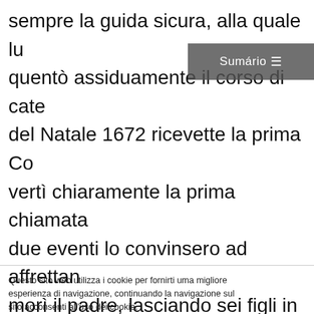sempre la guida sicura, alla quale lu quentò assiduamente il corso di cate del Natale 1672 ricevette la prima Co vertì chiaramente la prima chiamata due eventi lo convinsero ad affrettan morì il padre, lasciando sei figli in te la processione del Corpus Domini 1( mento umile e raccolto degli agostin lo indirizzava verso quell'Ordine relig di S. Nicola, il quale lo accolse ben vo
Questo sito web utilizza i cookie per fornirti uma migliore esperienza di navigazione, continuando la navigazione sul sito acconsenti all'uso dei cookie.